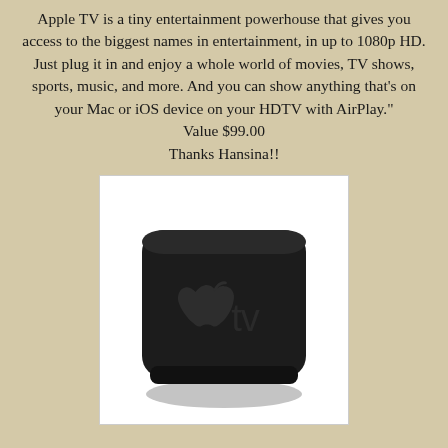Apple TV is a tiny entertainment powerhouse that gives you access to the biggest names in entertainment, in up to 1080p HD. Just plug it in and enjoy a whole world of movies, TV shows, sports, music, and more. And you can show anything that's on your Mac or iOS device on your HDTV with AirPlay."
Value $99.00
Thanks Hansina!!
[Figure (photo): Photo of an Apple TV device — a small black square box with rounded corners, showing the Apple logo and 'tv' text on top, photographed from a slight angle on a white background.]